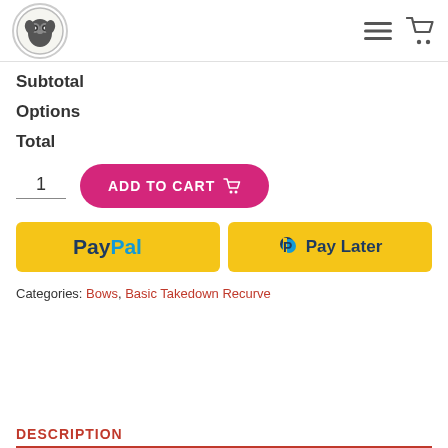Smokey River Bows logo, navigation menu icon, cart icon
Subtotal
Options
Total
1  ADD TO CART
[Figure (other): PayPal button (yellow) and Pay Later button (yellow) side by side]
Categories: Bows, Basic Takedown Recurve
DESCRIPTION